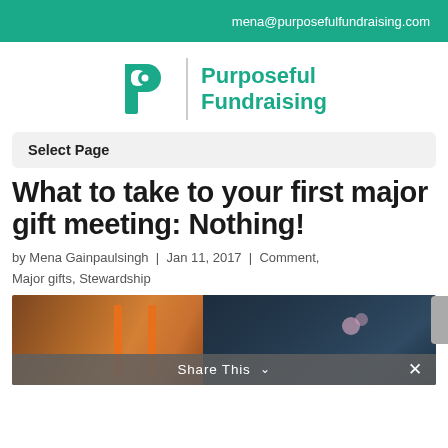mena@purposefulfundraising.com
[Figure (logo): Purposeful Fundraising logo: teal P icon with vertical divider and text 'Purposeful Fundraising']
Select Page
What to take to your first major gift meeting: Nothing!
by Mena Gainpaulsingh | Jan 11, 2017 | Comment, Major gifts, Stewardship
[Figure (photo): Photo showing two scenes: left side with orange/wooden chairs or furniture, right side with a person holding flowers in a dark setting]